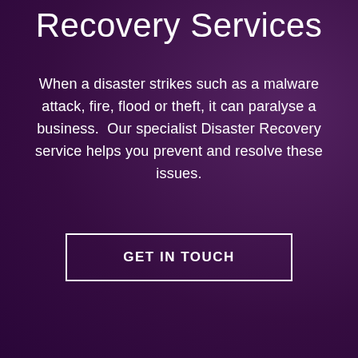Recovery Services
When a disaster strikes such as a malware attack, fire, flood or theft, it can paralyse a business.  Our specialist Disaster Recovery service helps you prevent and resolve these issues.
GET IN TOUCH